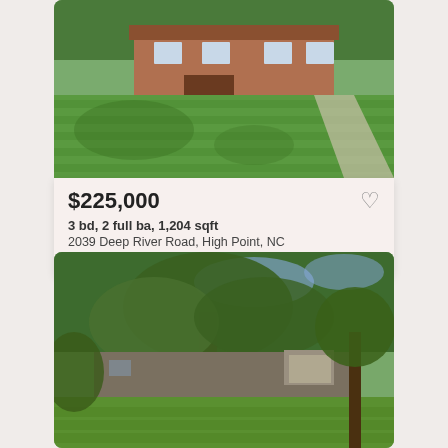[Figure (photo): Exterior photo of a brick ranch-style house with large green front lawn and trees in background]
$225,000
3 bd, 2 full ba, 1,204 sqft
2039 Deep River Road, High Point, NC
Courtesy of Keller Williams Realty Elite
[Figure (photo): Exterior photo of a ranch-style house partially obscured by large trees with green lawn in foreground]